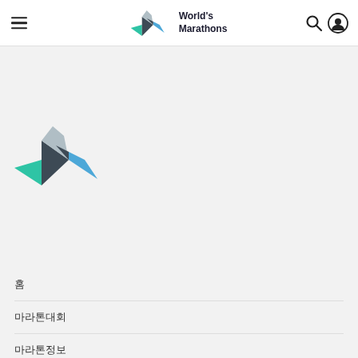World's Marathons navigation header
[Figure (logo): World's Marathons logo — zigzag shape in green, dark grey, light grey, and blue, with text 'World's Marathons']
[Figure (logo): World's Marathons logo mark only — larger version, zigzag in green, dark grey, light grey, and blue]
홈
마라톤대회
마라톤정보
마라톤용품
마라톤뉴스